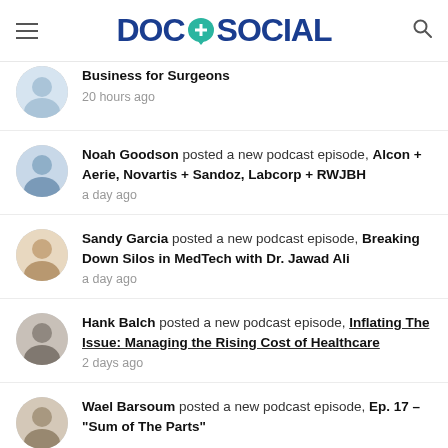DOC + SOCIAL
Business for Surgeons — 20 hours ago
Noah Goodson posted a new podcast episode, Alcon + Aerie, Novartis + Sandoz, Labcorp + RWJBH — a day ago
Sandy Garcia posted a new podcast episode, Breaking Down Silos in MedTech with Dr. Jawad Ali — a day ago
Hank Balch posted a new podcast episode, Inflating The Issue: Managing the Rising Cost of Healthcare — 2 days ago
Wael Barsoum posted a new podcast episode, Ep. 17 – "Sum of The Parts"